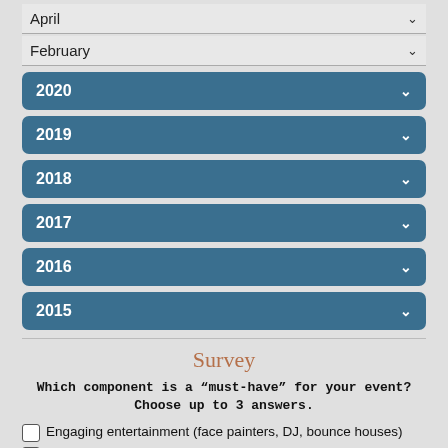April (dropdown)
February (dropdown)
2020 (accordion)
2019 (accordion)
2018 (accordion)
2017 (accordion)
2016 (accordion)
2015 (accordion)
Survey
Which component is a “must-have” for your event? Choose up to 3 answers.
Engaging entertainment (face painters, DJ, bounce houses)
Complimentary food for participants
Food onsite for purchase; food trucks, venue provided food options, etc.
Celebrity guest(s)